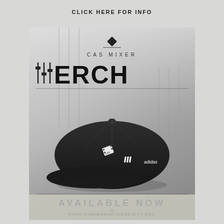CLICK HERE FOR INFO
[Figure (advertisement): CAS Mixer Merch advertisement featuring a black Adidas baseball cap with CAS logo embroidered on front. Background shows a blurred audio mixer console. Text reads 'CAS MIXER MERCH' with mixer fader icons replacing the 'M' in MERCH. Bottom section shows 'AVAILABLE NOW' and 'SHOP.CINEMAAUDIOSOCIETY.ORG']